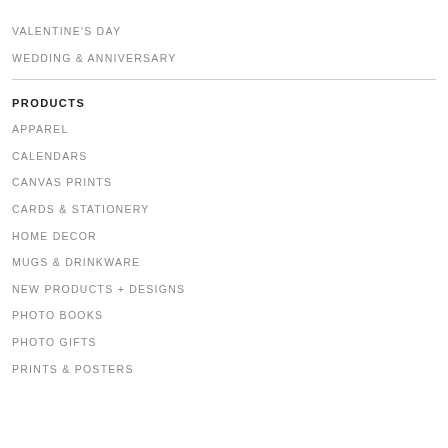VALENTINE'S DAY
WEDDING & ANNIVERSARY
PRODUCTS
APPAREL
CALENDARS
CANVAS PRINTS
CARDS & STATIONERY
HOME DECOR
MUGS & DRINKWARE
NEW PRODUCTS + DESIGNS
PHOTO BOOKS
PHOTO GIFTS
PRINTS & POSTERS